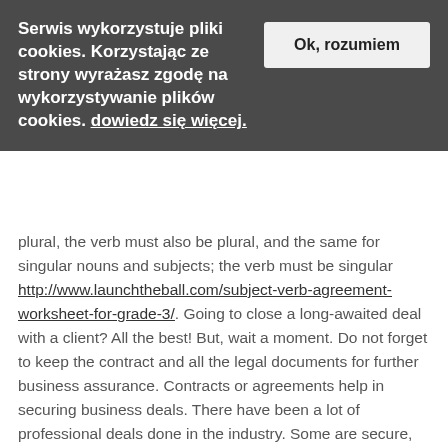Serwis wykorzystuje pliki cookies. Korzystając ze strony wyrażasz zgodę na wykorzystywanie plików cookies. dowiedz się więcej.
plural, the verb must also be plural, and the same for singular nouns and subjects; the verb must be singular http://www.launchtheball.com/subject-verb-agreement-worksheet-for-grade-3/. Going to close a long-awaited deal with a client? All the best! But, wait a moment. Do not forget to keep the contract and all the legal documents for further business assurance. Contracts or agreements help in securing business deals. There have been a lot of professional deals done in the industry. Some are secure, and more than half are counterfeit. Being in the market, it is a must to safeguard the monetary value from frauds. Even if the deal is between reputed parties, there are chances that one of them might take a step backward and leave the proposed deal midway. Then, who will be at an utter loss? Exactly! The other party. Before agreeing to someone, make sure to create a fool-proof contract that includes the terms and conditions, and other aspects of